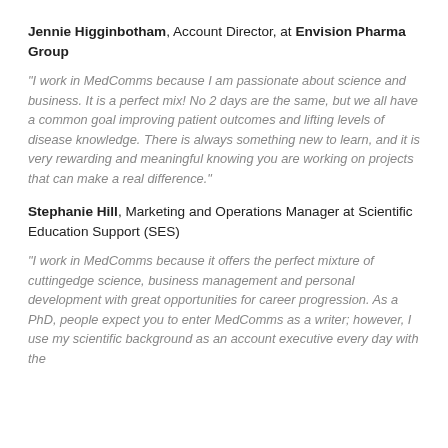Jennie Higginbotham, Account Director, at Envision Pharma Group
"I work in MedComms because I am passionate about science and business. It is a perfect mix! No 2 days are the same, but we all have a common goal improving patient outcomes and lifting levels of disease knowledge. There is always something new to learn, and it is very rewarding and meaningful knowing you are working on projects that can make a real difference."
Stephanie Hill, Marketing and Operations Manager at Scientific Education Support (SES)
"I work in MedComms because it offers the perfect mixture of cuttingedge science, business management and personal development with great opportunities for career progression. As a PhD, people expect you to enter MedComms as a writer; however, I use my scientific background as an account executive every day with the